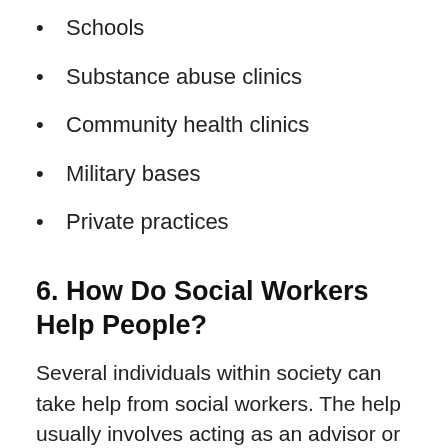Schools
Substance abuse clinics
Community health clinics
Military bases
Private practices
6. How Do Social Workers Help People?
Several individuals within society can take help from social workers. The help usually involves acting as an advisor or spending time with program participants to improve their lives and help them move forward.